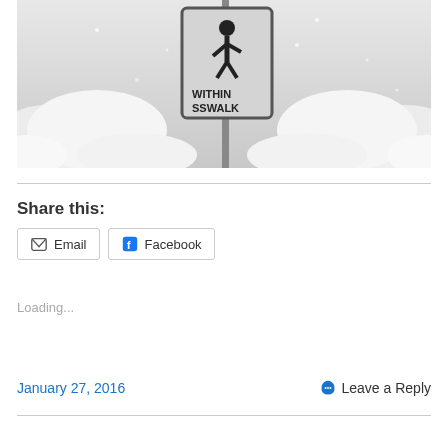[Figure (photo): Black and white photo of a crosswalk sign partially buried in deep snow. The sign shows a pedestrian walking icon and text reading 'WITHIN SSWALK' (crosswalk). Snow banks surround the sign pole.]
Share this:
Email  Facebook
Loading...
January 27, 2016
Leave a Reply